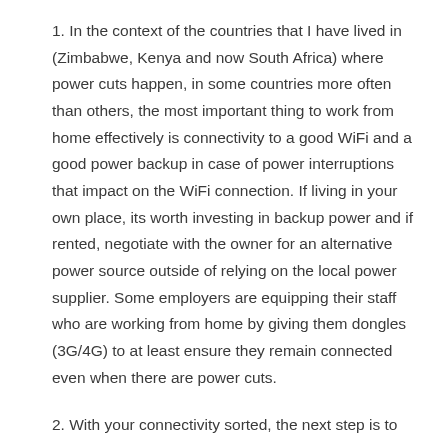1. In the context of the countries that I have lived in (Zimbabwe, Kenya and now South Africa) where power cuts happen, in some countries more often than others, the most important thing to work from home effectively is connectivity to a good WiFi and a good power backup in case of power interruptions that impact on the WiFi connection. If living in your own place, its worth investing in backup power and if rented, negotiate with the owner for an alternative power source outside of relying on the local power supplier. Some employers are equipping their staff who are working from home by giving them dongles (3G/4G) to at least ensure they remain connected even when there are power cuts.
2. With your connectivity sorted, the next step is to